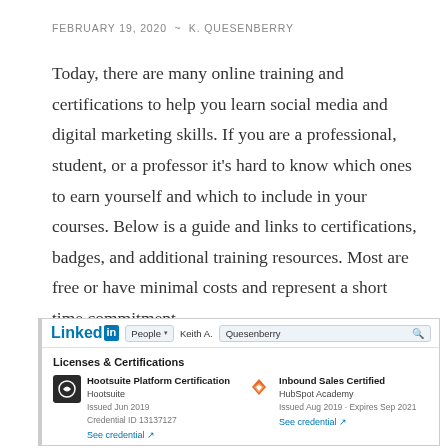FEBRUARY 19, 2020  ~  K. QUESENBERRY
Today, there are many online training and certifications to help you learn social media and digital marketing skills. If you are a professional, student, or a professor it's hard to know which ones to earn yourself and which to include in your courses. Below is a guide and links to certifications, badges, and additional training resources. Most are free or have minimal costs and represent a short time commitment.
[Figure (screenshot): LinkedIn profile screenshot showing 'Licenses & Certifications' section with two certifications: Hootsuite Platform Certification (Hootsuite, Issued Jun 2019, Credential ID 13137127, See credential link) and Inbound Sales Certified (HubSpot Academy, Issued Aug 2019, Expires Sep 2021, See credential link). The top bar shows the LinkedIn logo, People search filter with 'Keith A.' and 'Quesenberry' search terms.]